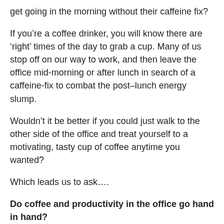get going in the morning without their caffeine fix?
If you’re a coffee drinker, you will know there are ‘right’ times of the day to grab a cup. Many of us stop off on our way to work, and then leave the office mid-morning or after lunch in search of a caffeine-fix to combat the post–lunch energy slump.
Wouldn’t it be better if you could just walk to the other side of the office and treat yourself to a motivating, tasty cup of coffee anytime you wanted?
Which leads us to ask….
Do coffee and productivity in the office go hand in hand?
Put simply, Yes! According to an article published by The Huffington Post, In a report, 46 percent of America’s workforce say coffee helps them stay productive at work.